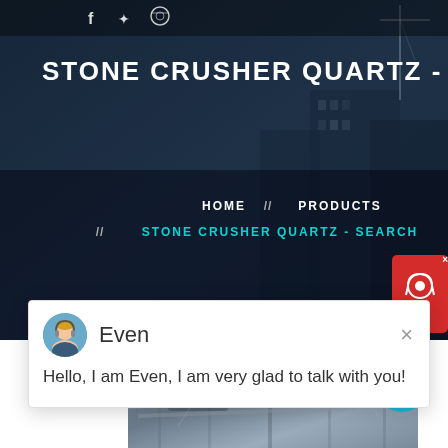[Figure (screenshot): Hero banner with dark blue construction site background showing building silhouettes and cranes]
STONE CRUSHER QUARTZ - SEA
HOME // PRODUCTS // STONE CRUSHER QUARTZ - SEARCH
Even
Hello, I am Even, I am very glad to talk with you!
Latest Projects
[Figure (photo): Industrial stone crusher machinery inside a facility]